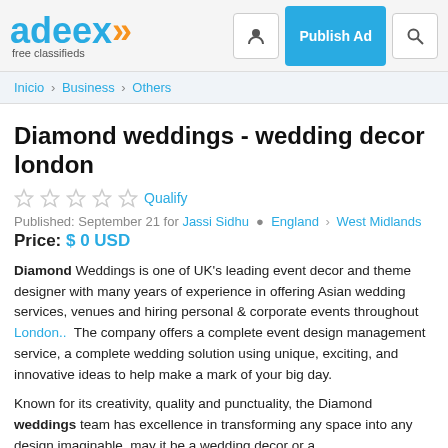adeex free classifieds — Publish Ad
Inicio > Business > Others
Diamond weddings - wedding decor london
★★★★★ Qualify
Published: September 21 for Jassi Sidhu  England > West Midlands
Price: $ 0 USD
Diamond Weddings is one of UK's leading event decor and theme designer with many years of experience in offering Asian wedding services, venues and hiring personal & corporate events throughout London..  The company offers a complete event design management service, a complete wedding solution using unique, exciting, and innovative ideas to help make a mark of your big day.
Known for its creativity, quality and punctuality, the Diamond weddings team has excellence in transforming any space into any design imaginable, may it be a wedding decor or a